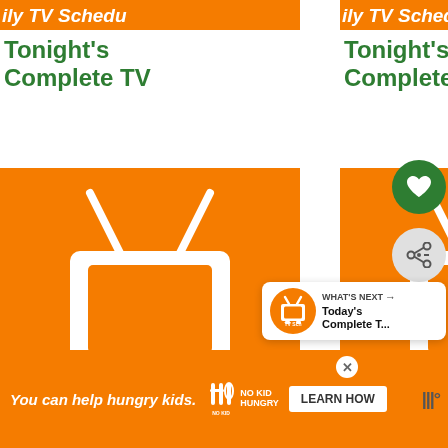[Figure (screenshot): Screenshot of a TV schedule website showing a grid of card items. Each card has an orange thumbnail with a retro TV icon and text 'ily TV Schedu' (truncated 'Daily TV Schedule'), followed by green bold text reading Tonight's Complete TV. Six cards are visible in two columns. On the right side are interaction buttons (heart, share) and a What's Next panel. An orange advertisement banner at the bottom says 'You can help hungry kids.' with No Kid Hungry logo and Learn How button.]